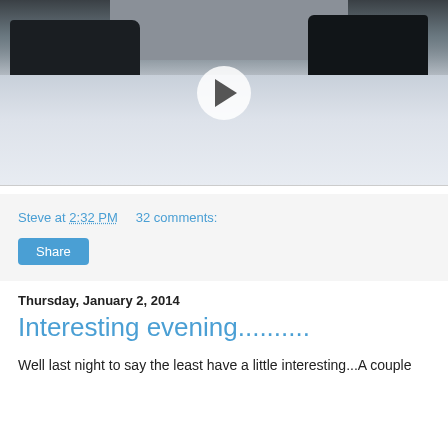[Figure (screenshot): Video thumbnail showing a snowy residential street scene with dark vehicles and houses. A white circular play button is centered on the image.]
Steve at 2:32 PM    32 comments:
Share
Thursday, January 2, 2014
Interesting evening..........
Well last night to say the least have a little interesting...A couple